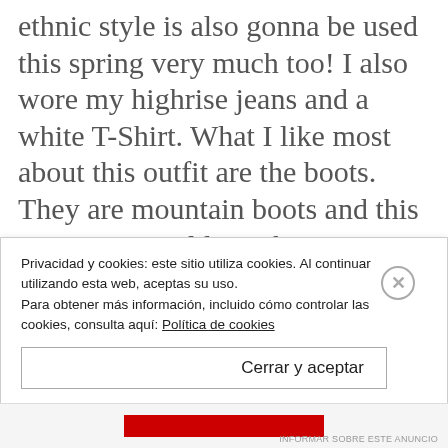ethnic style is also gonna be used this spring very much too! I also wore my highrise jeans and a white T-Shirt. What I like most about this outfit are the boots. They are mountain boots and this winter we could see them everywhere. I think they are the perfect last touch for a casual outfit and the best part is that they are really confortable. You can find the style in different stores. The infinity scarf is an e y
Privacidad y cookies: este sitio utiliza cookies. Al continuar utilizando esta web, aceptas su uso. Para obtener más información, incluido cómo controlar las cookies, consulta aquí: Política de cookies
Cerrar y aceptar
INFORMAR SOBRE ESTE ANUNCIO